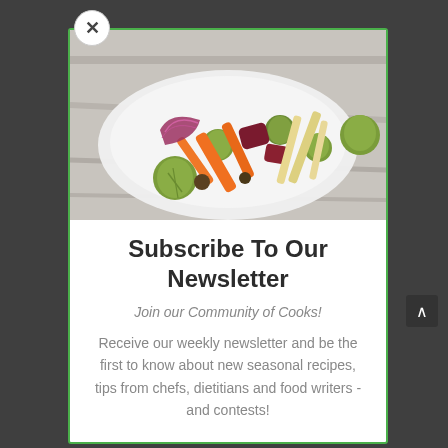[Figure (photo): Close-up photo of roasted vegetables on a white plate — brussels sprouts, carrots, red onion, beets, and parsnips on a light wooden surface]
Subscribe To Our Newsletter
Join our Community of Cooks!
Receive our weekly newsletter and be the first to know about new seasonal recipes, tips from chefs, dietitians and food writers - and contests!